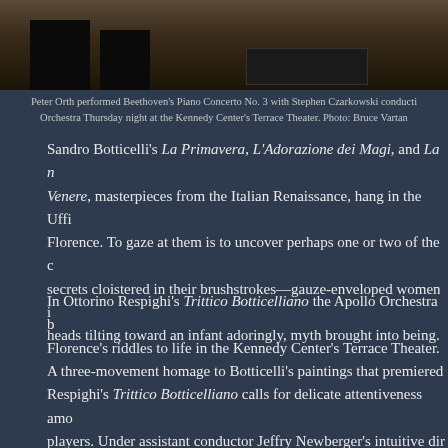[Figure (photo): Black and white photo of piano legs and furniture at the Kennedy Center's Terrace Theater]
Peter Orth performed Beethoven's Piano Concerto No. 3 with Stephen Czarkowski conducti... Orchestra Thursday night at the Kennedy Center's Terrace Theater. Photo: Bruce Vartan...
Sandro Botticelli's La Primavera, L'Adorazione dei Magi, and La n Venere, masterpieces from the Italian Renaissance, hang in the Uffi Florence. To gaze at them is to uncover perhaps one or two of the c secrets cloistered in their brushstrokes—gauze-enveloped women i heads tilting toward an infant adoringly, myth brought into being.
In Ottorino Respighi's Trittico Botticelliano the Apollo Orchestra b Florence's riddles to life in the Kennedy Center's Terrace Theater.
A three-movement homage to Botticelli's paintings that premiered Respighi's Trittico Botticelliano calls for delicate attentiveness amo players. Under assistant conductor Jeffry Newberger's intuitive dir Apollo Orchestra proved it was more than up to the task. This was true of the winds and brass, which feature in several exposed interl